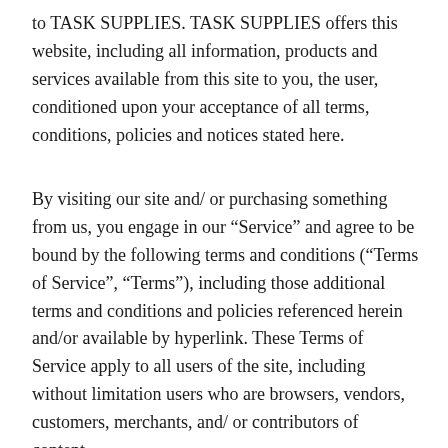to TASK SUPPLIES. TASK SUPPLIES offers this website, including all information, products and services available from this site to you, the user, conditioned upon your acceptance of all terms, conditions, policies and notices stated here.
By visiting our site and/ or purchasing something from us, you engage in our “Service” and agree to be bound by the following terms and conditions (“Terms of Service”, “Terms”), including those additional terms and conditions and policies referenced herein and/or available by hyperlink. These Terms of Service apply to all users of the site, including without limitation users who are browsers, vendors, customers, merchants, and/ or contributors of content.